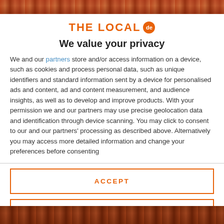[Figure (photo): Top banner photo strip showing a crowd of people]
THE LOCAL de
We value your privacy
We and our partners store and/or access information on a device, such as cookies and process personal data, such as unique identifiers and standard information sent by a device for personalised ads and content, ad and content measurement, and audience insights, as well as to develop and improve products. With your permission we and our partners may use precise geolocation data and identification through device scanning. You may click to consent to our and our partners' processing as described above. Alternatively you may access more detailed information and change your preferences before consenting
ACCEPT
MORE OPTIONS
[Figure (photo): Bottom banner photo strip showing a crowd of people]